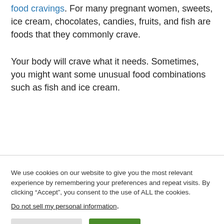food cravings. For many pregnant women, sweets, ice cream, chocolates, candies, fruits, and fish are foods that they commonly crave.
Your body will crave what it needs. Sometimes, you might want some unusual food combinations such as fish and ice cream.
We use cookies on our website to give you the most relevant experience by remembering your preferences and repeat visits. By clicking “Accept”, you consent to the use of ALL the cookies.
Do not sell my personal information.